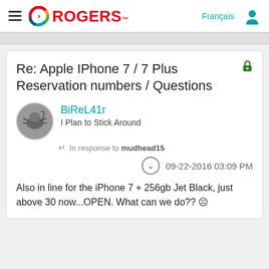[Figure (logo): Rogers Communications logo with colorful circular icon and red ROGERS text]
Re: Apple IPhone 7 / 7 Plus Reservation numbers / Questions
BiReL41r
I Plan to Stick Around
In response to mudhead15
09-22-2016 03:09 PM
Also in line for the iPhone 7 + 256gb Jet Black, just above 30 now...OPEN. What can we do?? ☹